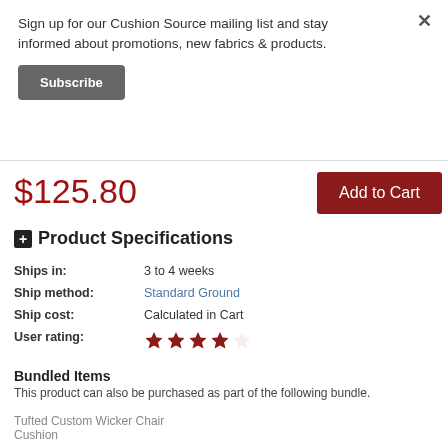Sign up for our Cushion Source mailing list and stay informed about promotions, new fabrics & products.
Subscribe
$125.80
Add to Cart
+ Product Specifications
Ships in: 3 to 4 weeks
Ship method: Standard Ground
Ship cost: Calculated in Cart
User rating: 4 out of 5 stars
Bundled Items
This product can also be purchased as part of the following bundle.
Tufted Custom Wicker Chair Cushion